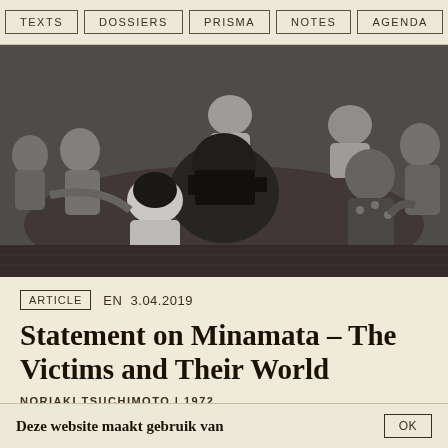TEXTS | DOSSIERS | PRISMA | NOTES | AGENDA
[Figure (photo): Black and white photograph of a group of people sitting on the floor in a circle, with a person in the foreground filming with a camera.]
ARTICLE  EN  3.04.2019
Statement on Minamata – The Victims and Their World
NORIAKI TSUCHIMOTO | 1972
TRANSLATED BY CINJA CALVIN
Deze website maakt gebruik van
OK